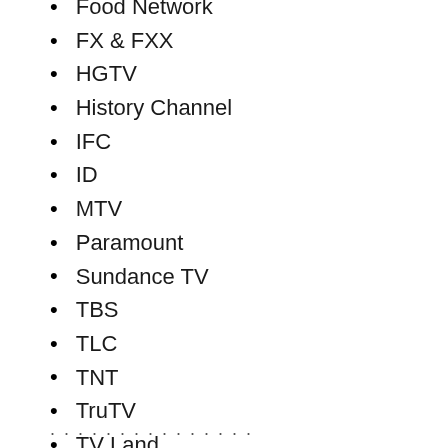Food Network
FX & FXX
HGTV
History Channel
IFC
ID
MTV
Paramount
Sundance TV
TBS
TLC
TNT
TruTV
TV Land
USA
VH1